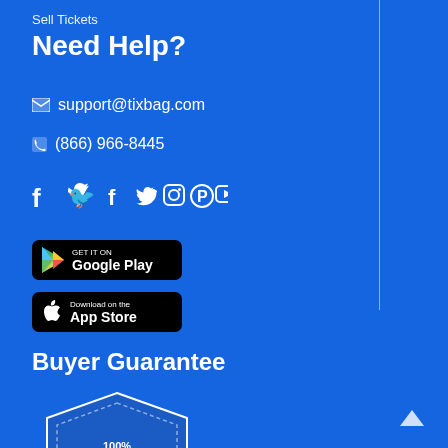Sell Tickets
Need Help?
support@tixbag.com
(866) 966-8445
[Figure (infographic): Social media icons: Facebook, Twitter, Instagram, Pinterest, YouTube]
[Figure (infographic): Google Play download badge]
[Figure (infographic): App Store download badge]
Buyer Guarantee
[Figure (illustration): 100% Buyer Guarantee shield badge with stars]